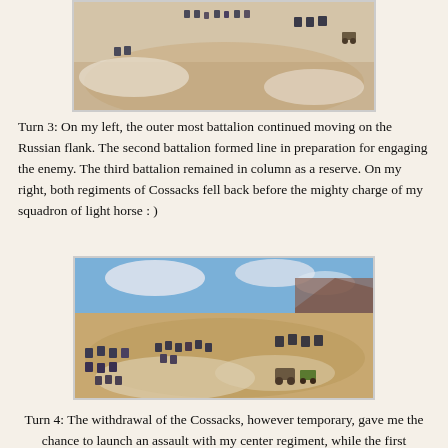[Figure (photo): Aerial view of a tabletop wargame showing miniature soldiers and terrain with sandy colored ground and white areas, viewed from above.]
Turn 3: On my left, the outer most battalion continued moving on the Russian flank. The second battalion formed line in preparation for engaging the enemy. The third battalion remained in column as a reserve. On my right, both regiments of Cossacks fell back before the mighty charge of my squadron of light horse : )
[Figure (photo): Perspective view of a tabletop wargame showing miniature soldiers, cavalry, and terrain with sandy colored ground. Blue sky backdrop visible. Multiple unit formations scattered across the table.]
Turn 4: The withdrawal of the Cossacks, however temporary, gave me the chance to launch an assault with my center regiment, while the first regiment continued its flanking movement. On the far left, the Russains reacted to my wide flanking move by sending their right flank reserve battalion to counter my flanking column. It...